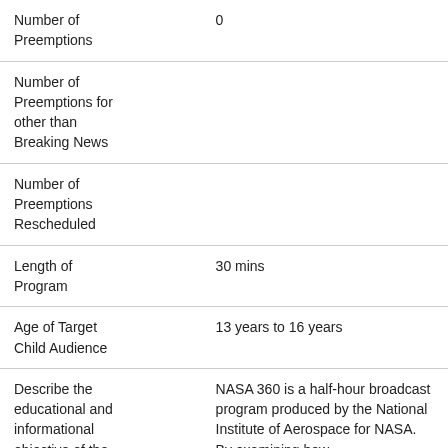| Number of Preemptions | 0 |
| Number of Preemptions for other than Breaking News |  |
| Number of Preemptions Rescheduled |  |
| Length of Program | 30 mins |
| Age of Target Child Audience | 13 years to 16 years |
| Describe the educational and informational objective of the program and how | NASA 360 is a half-hour broadcast program produced by the National Institute of Aerospace for NASA. By examining how |